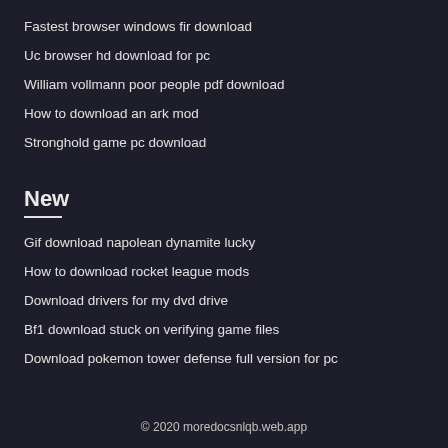Fastest browser windows fir download
Uc browser hd download for pc
William vollmann poor people pdf download
How to download an ark mod
Stronghold game pc download
New
Gif download napolean dynamite lucky
How to download rocket league mods
Download drivers for my dvd drive
Bf1 download stuck on verifying game files
Download pokemon tower defense full version for pc
© 2020 moredocsnlqb.web.app